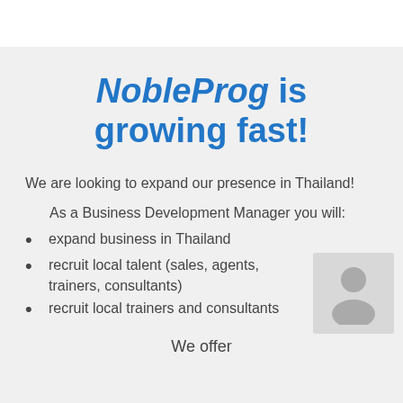NobleProg is growing fast!
We are looking to expand our presence in Thailand!
As a Business Development Manager you will:
expand business in Thailand
recruit local talent (sales, agents, trainers, consultants)
recruit local trainers and consultants
We offer